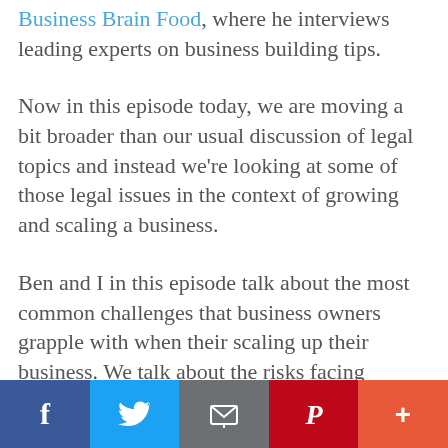Business Brain Food, where he interviews leading experts on business building tips.
Now in this episode today, we are moving a bit broader than our usual discussion of legal topics and instead we're looking at some of those legal issues in the context of growing and scaling a business.
Ben and I in this episode talk about the most common challenges that business owners grapple with when their scaling up their business. We talk about the risks facing directors and we highlight some
Social share bar: Facebook, Twitter, Email, Pinterest, More